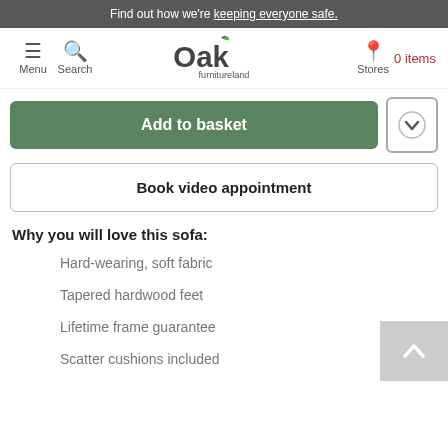Find out how we're keeping everyone safe.
[Figure (screenshot): Oak Furnitureland navigation bar with Menu, Search, logo, Stores, and 0 items]
Add to basket
Book video appointment
Why you will love this sofa:
Hard-wearing, soft fabric
Tapered hardwood feet
Lifetime frame guarantee
Scatter cushions included